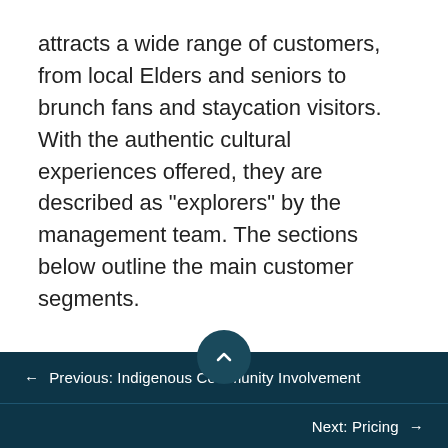attracts a wide range of customers, from local Elders and seniors to brunch fans and staycation visitors. With the authentic cultural experiences offered, they are described as "explorers" by the management team. The sections below outline the main customer segments.
Bus Tours
Many bus tours have put Quaaout Lodge on their itinerary. Guests appreciate the
← Previous: Indigenous Community Involvement
Next: Pricing →